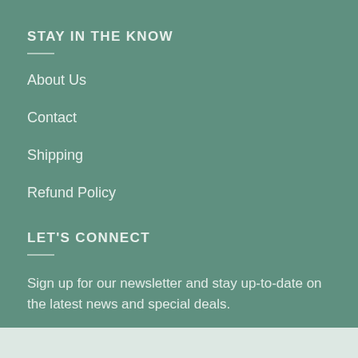STAY IN THE KNOW
About Us
Contact
Shipping
Refund Policy
LET'S CONNECT
Sign up for our newsletter and stay up-to-date on the latest news and special deals.